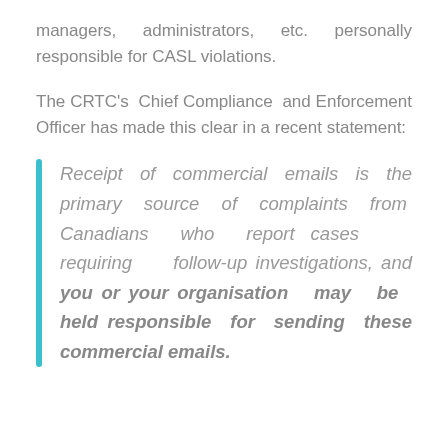managers, administrators, etc. personally responsible for CASL violations.
The CRTC's Chief Compliance and Enforcement Officer has made this clear in a recent statement:
Receipt of commercial emails is the primary source of complaints from Canadians who report cases requiring follow-up investigations, and you or your organisation may be held responsible for sending these commercial emails.